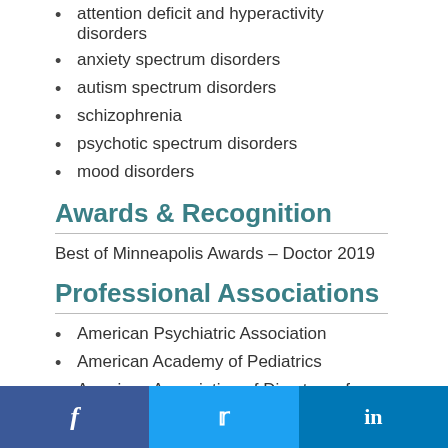attention deficit and hyperactivity disorders
anxiety spectrum disorders
autism spectrum disorders
schizophrenia
psychotic spectrum disorders
mood disorders
Awards & Recognition
Best of Minneapolis Awards – Doctor 2019
Professional Associations
American Psychiatric Association
American Academy of Pediatrics
American Association of Directors of Psychiatric Residency Training
f  [twitter]  in